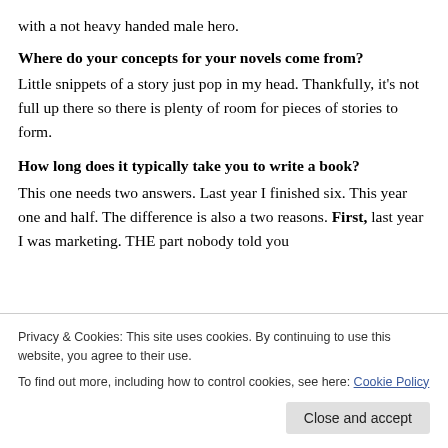with a not heavy handed male hero.
Where do your concepts for your novels come from?
Little snippets of a story just pop in my head. Thankfully, it's not full up there so there is plenty of room for pieces of stories to form.
How long does it typically take you to write a book?
This one needs two answers. Last year I finished six. This year one and half. The difference is also a two reasons. First, last year I was marketing. THE part nobody told you
Privacy & Cookies: This site uses cookies. By continuing to use this website, you agree to their use.
To find out more, including how to control cookies, see here: Cookie Policy